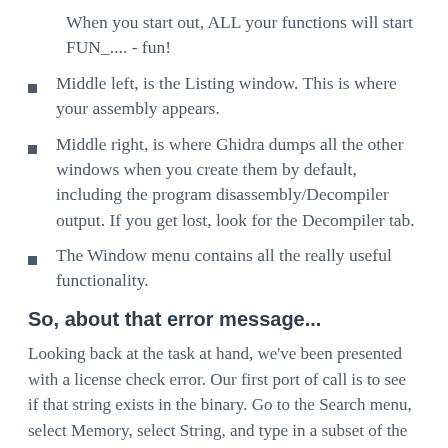When you start out, ALL your functions will start FUN_.... - fun!
Middle left, is the Listing window. This is where your assembly appears.
Middle right, is where Ghidra dumps all the other windows when you create them by default, including the program disassembly/Decompiler output. If you get lost, look for the Decompiler tab.
The Window menu contains all the really useful functionality.
So, about that error message...
Looking back at the task at hand, we've been presented with a license check error. Our first port of call is to see if that string exists in the binary. Go to the Search menu, select Memory, select String, and type in a subset of the string from the dialog. You could also use the Defined Strings window if you •